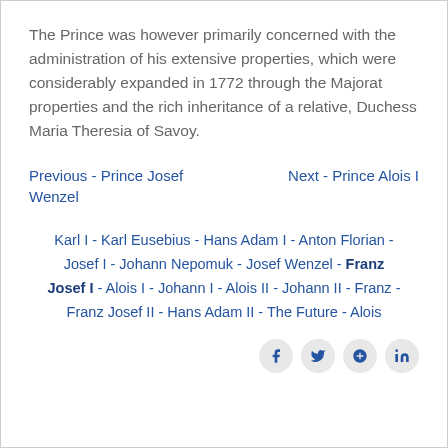The Prince was however primarily concerned with the administration of his extensive properties, which were considerably expanded in 1772 through the Majorat properties and the rich inheritance of a relative, Duchess Maria Theresia of Savoy.
Previous - Prince Josef Wenzel   Next - Prince Alois I
Karl I - Karl Eusebius - Hans Adam I - Anton Florian - Josef I - Johann Nepomuk - Josef Wenzel - Franz Josef I - Alois I - Johann I - Alois II - Johann II - Franz - Franz Josef II - Hans Adam II - The Future - Alois